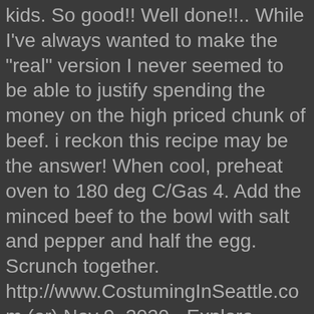kids. So good!! Well done!!.. While I've always wanted to make the "real" version I never seemed to be able to justify spending the money on the high priced chunk of beef. i reckon this recipe may be the answer! When cool, preheat oven to 180 deg C/Gas 4. Add the minced beef to the bowl with salt and pepper and half the egg. Scrunch together. http://www.CostumingInSeattle.com (or) Nov 9, 2020 - Explore Kimrcarter's board "Ground beef Wellington" on Pinterest. . This was amazing!!! While a classic beef wellington makes for a delicious dinner, filet mignon tends to be out of my budget. I am wondering if you could adapt it to a vegetarian diet... lentils perhaps? Thank you for sharing. . Fry and stir for about 8 mins or until the vegetables soften and colour. I haven't tested with hash browns but I am guessing it's okay. That is wonderful, Dawn! Love it. This recipe was originally published in 11/2012, updated in 02/2019. Here is your chance to play with your food-get into the bowl with your hands and start mixing everything together. Made it with a side of delicious beef gravy, the recipe DOES NOT need moisture, the gravy was there just because I like